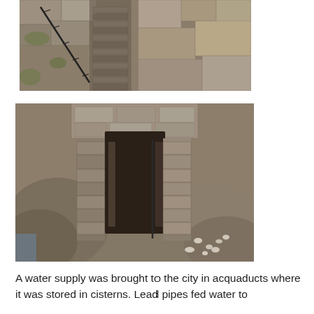[Figure (photo): Aerial/overhead view of ancient stone ruins with a measuring rod/scale bar visible, showing layered stone blocks and archaeological excavation]
[Figure (photo): Close-up view of ancient stone cistern or water storage structure with stone walls and a deep rectangular opening, archaeological site]
A water supply was brought to the city in acquaducts where it was stored in cisterns. Lead pipes fed water to